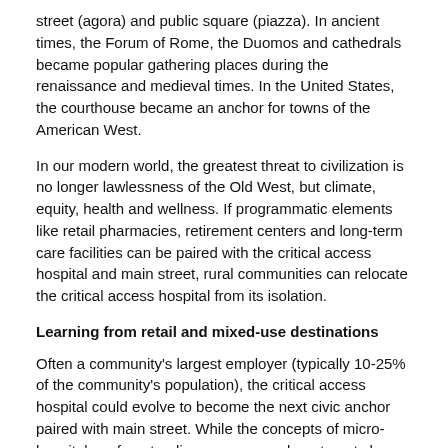street (agora) and public square (piazza). In ancient times, the Forum of Rome, the Duomos and cathedrals became popular gathering places during the renaissance and medieval times. In the United States, the courthouse became an anchor for towns of the American West.
In our modern world, the greatest threat to civilization is no longer lawlessness of the Old West, but climate, equity, health and wellness. If programmatic elements like retail pharmacies, retirement centers and long-term care facilities can be paired with the critical access hospital and main street, rural communities can relocate the critical access hospital from its isolation.
Learning from retail and mixed-use destinations
Often a community's largest employer (typically 10-25% of the community's population), the critical access hospital could evolve to become the next civic anchor paired with main street. While the concepts of micro-hospitals or freestanding emergency departments have been worthwhile stop gaps, they are finite in terms of creating a model that's sustainable and nimble enough to evolve with changing times. Breaking up rural medical centers as individual components, like the ED, no longer appears to be a viable long-term solution.